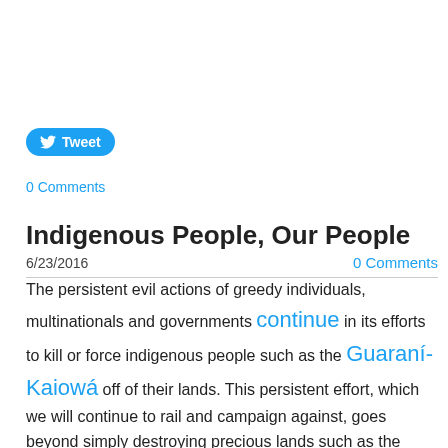Tweet
0 Comments
Indigenous People, Our People
6/23/2016
0 Comments
The persistent evil actions of greedy individuals, multinationals and governments continue in its efforts to kill or force indigenous people such as the Guaraní-Kaiowá off of their lands. This persistent effort, which we will continue to rail and campaign against, goes beyond simply destroying precious lands such as the irreplaceable Amazon Rainforest. It is a concerted effort to eradicate the traditions of people whose connection to nature and each other supersede the greed of today's civilization.